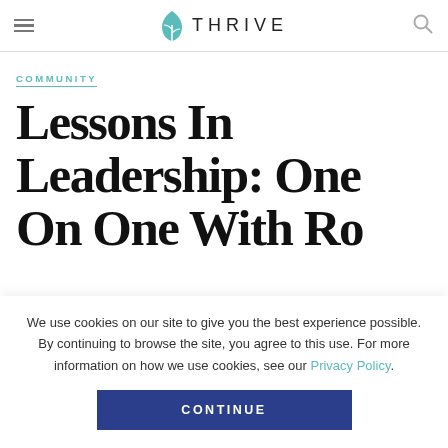THRIVE
COMMUNITY
Lessons In Leadership: One On One With Robyn Denholm
We use cookies on our site to give you the best experience possible. By continuing to browse the site, you agree to this use. For more information on how we use cookies, see our Privacy Policy.
CONTINUE